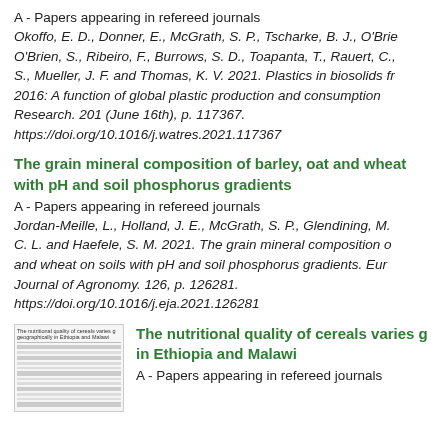A - Papers appearing in refereed journals
Okoffo, E. D., Donner, E., McGrath, S. P., Tscharke, B. J., O'Brien, S., Ribeiro, F., Burrows, S. D., Toapanta, T., Rauert, C., S., Mueller, J. F. and Thomas, K. V. 2021. Plastics in biosolids from 2016: A function of global plastic production and consumption. Water Research. 201 (June 16th), p. 117367. https://doi.org/10.1016/j.watres.2021.117367
The grain mineral composition of barley, oat and wheat with pH and soil phosphorus gradients
A - Papers appearing in refereed journals
Jordan-Meille, L., Holland, J. E., McGrath, S. P., Glendining, M. C. L. and Haefele, S. M. 2021. The grain mineral composition of and wheat on soils with pH and soil phosphorus gradients. European Journal of Agronomy. 126, p. 126281. https://doi.org/10.1016/j.eja.2021.126281
The nutritional quality of cereals varies geographically in Ethiopia and Malawi
A - Papers appearing in refereed journals